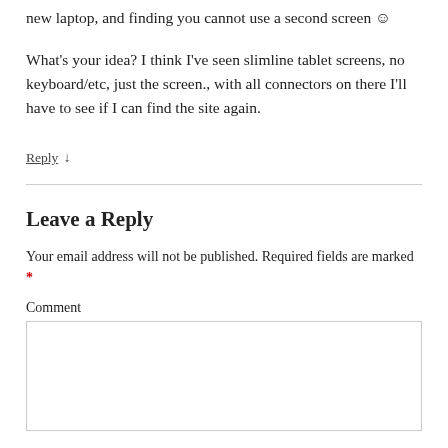new laptop, and finding you cannot use a second screen ☺
What's your idea? I think I've seen slimline tablet screens, no keyboard/etc, just the screen., with all connectors on there I'll have to see if I can find the site again.
Reply ↓
Leave a Reply
Your email address will not be published. Required fields are marked *
Comment